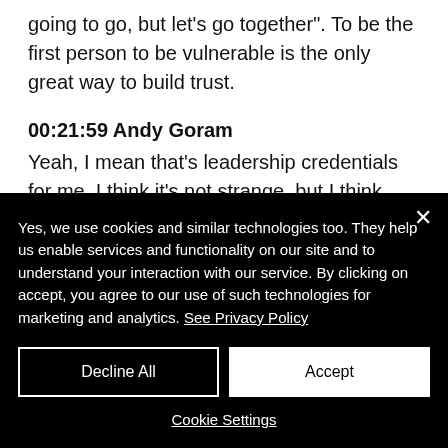going to go, but let's go together". To be the first person to be vulnerable is the only great way to build trust.
00:21:59 Andy Goram
Yeah, I mean that's leadership credentials for me. I think it's not strange, but I think we're going to see a bit of a bow wave in management and
Yes, we use cookies and similar technologies too. They help us enable services and functionality on our site and to understand your interaction with our service. By clicking on accept, you agree to our use of such technologies for marketing and analytics. See Privacy Policy
Decline All
Accept
Cookie Settings